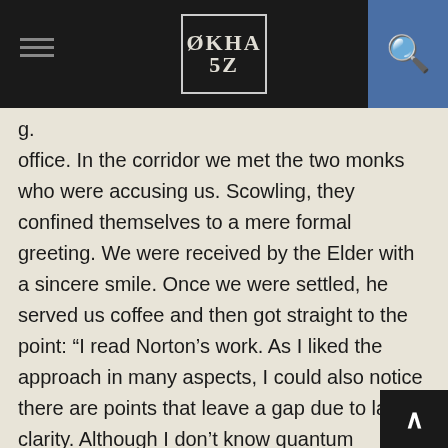OKHA 5Z
g.
office. In the corridor we met the two monks who were accusing us. Scowling, they confined themselves to a mere formal greeting. We were received by the Elder with a sincere smile. Once we were settled, he served us coffee and then got straight to the point: “I read Norton’s work. As I liked the approach in many aspects, I could also notice there are points that leave a gap due to lack of clarity. Although I don’t know quantum mechanics in as much as I would like to.”
Norton asked if those words meant a negative to dissemination of his studies because they were still